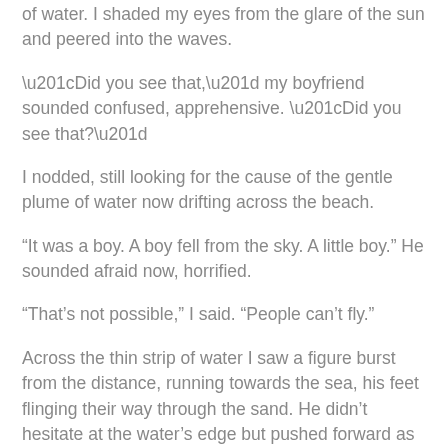of water. I shaded my eyes from the glare of the sun and peered into the waves.
“Did you see that,” my boyfriend sounded confused, apprehensive. “Did you see that?”
I nodded, still looking for the cause of the gentle plume of water now drifting across the beach.
“It was a boy. A boy fell from the sky. A little boy.” He sounded afraid now, horrified.
“That’s not possible,” I said. “People can’t fly.”
Across the thin strip of water I saw a figure burst from the distance, running towards the sea, his feet flinging their way through the sand. He didn’t hesitate at the water’s edge but pushed forward as if trying to reach the source of the spray. He was calling someone but his voice had an understanding that his heart did not; there would be no answer.
The lifeguards must have seen him too. They paddled out